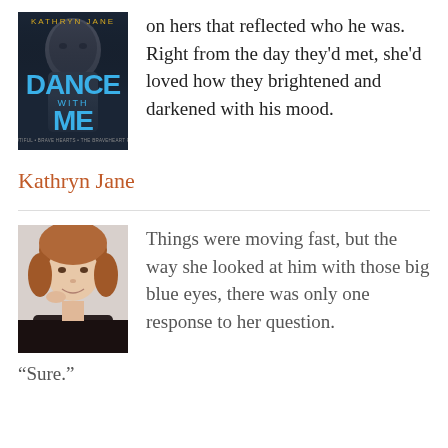[Figure (illustration): Book cover for 'Dance With Me' by Kathryn Jane, showing a man's face on a dark background with blue stylized title text]
on hers that reflected who he was. Right from the day they'd met, she'd loved how they brightened and darkened with his mood.
Kathryn Jane
[Figure (photo): Headshot of a woman with shoulder-length auburn hair, smiling with her hand near her face, wearing a dark top against a light background]
Things were moving fast, but the way she looked at him with those big blue eyes, there was only one response to her question.
“Sure.”